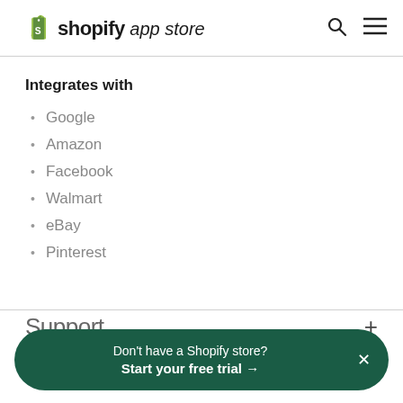shopify app store
Integrates with
Google
Amazon
Facebook
Walmart
eBay
Pinterest
Support
Don't have a Shopify store? Start your free trial →